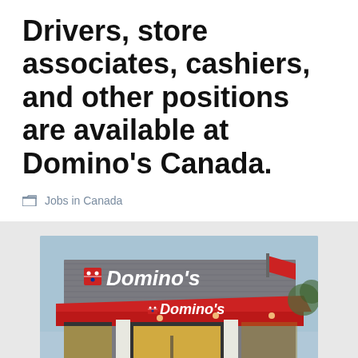Drivers, store associates, cashiers, and other positions are available at Domino's Canada.
Jobs in Canada
[Figure (photo): Exterior photo of a Domino's Pizza store with red awning, Domino's logo sign, and glass storefront, taken at dusk with interior lights visible.]